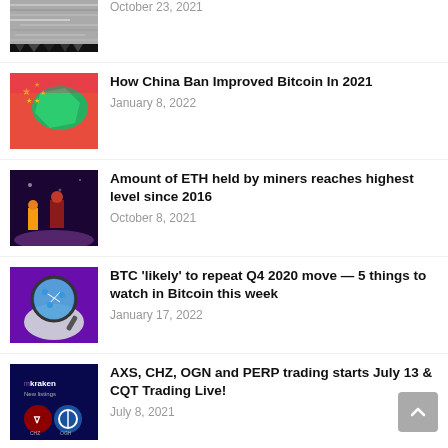[Figure (photo): Partially visible grayscale glitchy image at top of feed]
October 23, 2021
How China Ban Improved Bitcoin In 2021
[Figure (photo): China map with red flag and yellow stars illustration]
January 8, 2022
Amount of ETH held by miners reaches highest level since 2016
[Figure (photo): Sci-fi superhero characters in dark space setting]
October 8, 2021
BTC 'likely' to repeat Q4 2020 move — 5 things to watch in Bitcoin this week
[Figure (photo): Hands holding magnifying glass over a crypto globe on purple background]
January 17, 2022
AXS, CHZ, OGN and PERP trading starts July 13 & CQT Trading Live!
[Figure (photo): Kraken new listings banner with CHZ and OGN token logos]
July 8, 2021